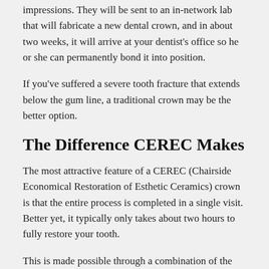impressions. They will be sent to an in-network lab that will fabricate a new dental crown, and in about two weeks, it will arrive at your dentist's office so he or she can permanently bond it into position.
If you've suffered a severe tooth fracture that extends below the gum line, a traditional crown may be the better option.
The Difference CEREC Makes
The most attractive feature of a CEREC (Chairside Economical Restoration of Esthetic Ceramics) crown is that the entire process is completed in a single visit. Better yet, it typically only takes about two hours to fully restore your tooth.
This is made possible through a combination of the latest technology in computer-aided design (CAD) and modeling (CAM). After removing any damaged material, your dentist will immediately begin the design and fabrication process – all in-